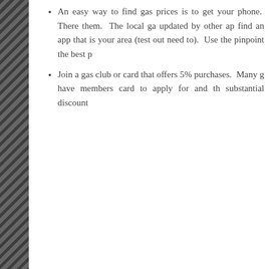An easy way to find gas prices is to get your phone. There them. The local ga updated by other a find an app that is your area (test out need to). Use the pinpoint the best p
Join a gas club or card that offers 5% purchases. Many g have members card to apply for and th substantial discount
Save Money on Gas
Budget Template